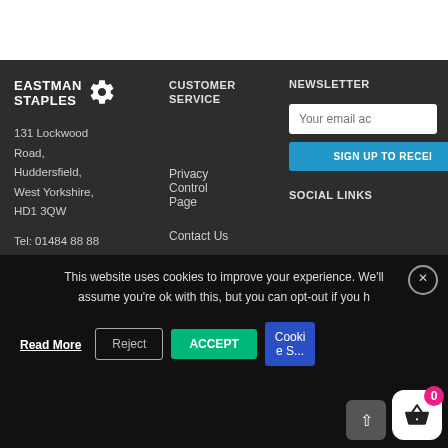[Figure (logo): Eastman Staples logo with gear icons and white text on dark background]
131 Lockwood Road, Huddersfield, West Yorkshire, HD1 3QW
Tel: 01484 88 88
CUSTOMER SERVICE
Privacy Control Page
Contact Us
NEWSLETTER
Your email ac
SIGN UP TO RECEI
SOCIAL LINKS
This website uses cookies to improve your experience. We'll assume you're ok with this, but you can opt-out if you h
Read More
Reject
ACCEPT
Cookie Settings